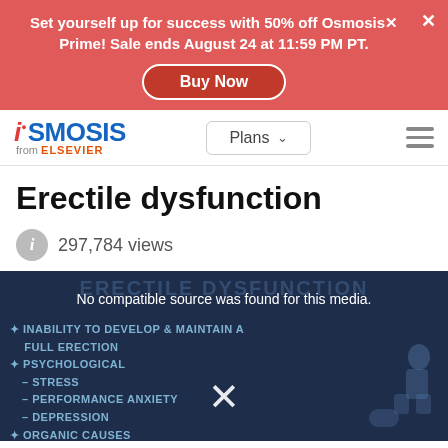Set yourself up for success with 50% off Osmosis Prime! Sale ends August 24 at 11:59 PM PT.
[Figure (screenshot): Osmosis from Elsevier navigation bar with Plans dropdown and hamburger menu]
Erectile dysfunction
297,784 views
[Figure (screenshot): Video player showing erectile dysfunction educational content with dark blue background. Text overlay reads: No compatible source was found for this media. Background shows: INABILITY TO DEVELOP & MAINTAIN A FULL ERECTION, PSYCHOLOGICAL, - STRESS, - PERFORMANCE ANXIETY, - DEPRESSION, ORGANIC CAUSES. A close/X button is visible.]